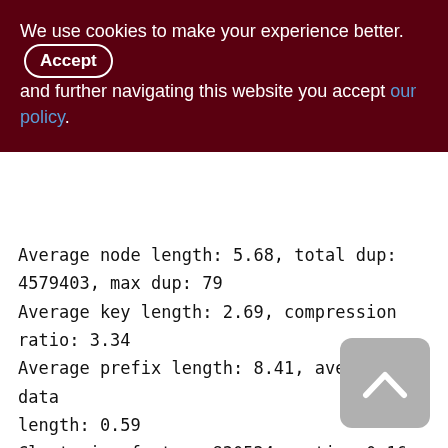We use cookies to make your experience better. By accepting and further navigating this website you accept our policy.
Average node length: 5.68, total dup: 4579403, max dup: 79
Average key length: 2.69, compression ratio: 3.34
Average prefix length: 8.41, average data length: 0.59
Clustering factor: 830524, ratio: 0.16
Fill distribution:
0 - 19% = 3
20 - 39% = 214
40 - 59% = 3494
60 - 79% = 1699
80 - 99% = 640
[Figure (other): Back to top button with upward chevron arrow icon]